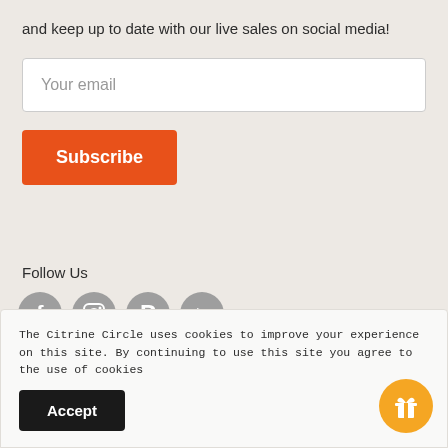and keep up to date with our live sales on social media!
Your email
Subscribe
Follow Us
[Figure (illustration): Four circular grey social media icons: Facebook, Instagram, Pinterest, YouTube]
The Citrine Circle uses cookies to improve your experience on this site. By continuing to use this site you agree to the use of cookies
Accept